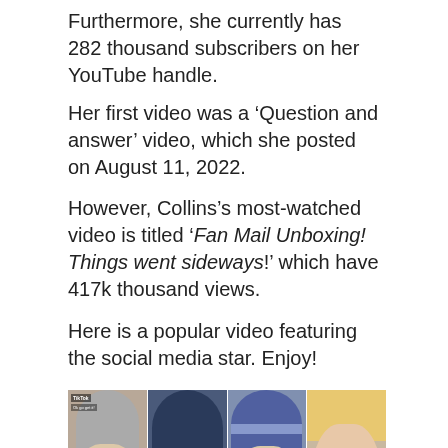Furthermore, she currently has 282 thousand subscribers on her YouTube handle.
Her first video was a ‘Question and answer’ video, which she posted on August 11, 2022.
However, Collins’s most-watched video is titled ‘Fan Mail Unboxing! Things went sideways!’ which have 417k thousand views.
Here is a popular video featuring the social media star. Enjoy!
[Figure (photo): Four-panel image showing social media content clips featuring various people. A YouTube play button is overlaid at the bottom center.]